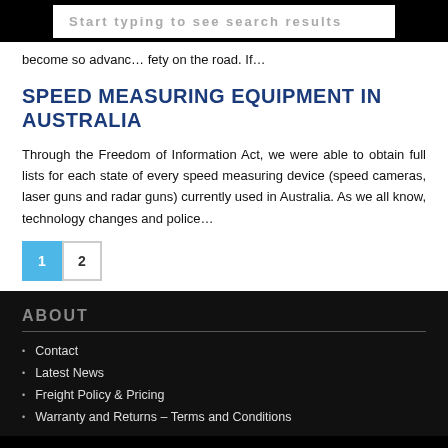AUSTRALIA   NEW ZEALAND
[Figure (screenshot): Search input box with placeholder text 'Start typing to see search results']
become so advanc... fety on the road. If...
SPEED MEASURING EQUIPMENT IN AUSTRALIA
Through the Freedom of Information Act, we were able to obtain full lists for each state of every speed measuring device (speed cameras, laser guns and radar guns) currently used in Australia. As we all know, technology changes and police...
1  2
ABOUT
Contact
Latest News
Freight Policy & Pricing
Warranty and Returns – Terms and Conditions